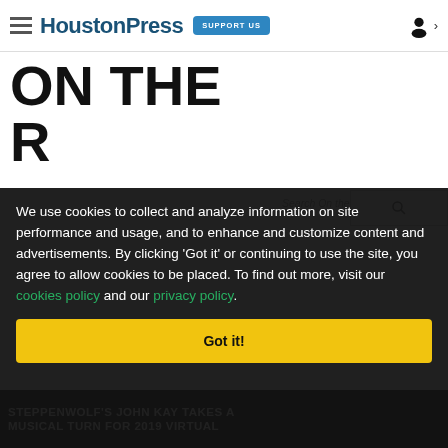HoustonPress — SUPPORT US
ON THE ROAD
We use cookies to collect and analyze information on site performance and usage, and to enhance and customize content and advertisements. By clicking 'Got it' or continuing to use the site, you agree to allow cookies to be placed. To find out more, visit our cookies policy and our privacy policy.
Got it!
STEPPENWOLF'S JOHN KAY TAKES A MUSICAL TURN FOR 2019 VIRTUAL...